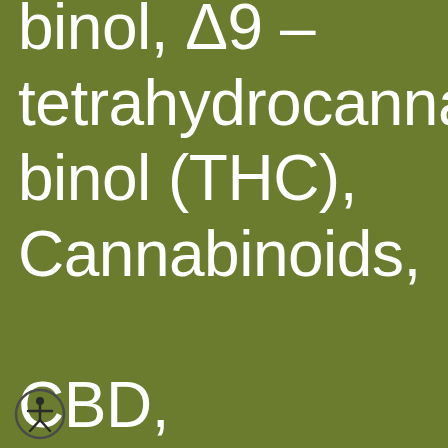binol, Δ9 – tetrahydrocannabinol (THC), Cannabinoids, CBD, experimental autoimmune
[Figure (illustration): Accessibility icon — circular outline with a stylized human figure (universal accessibility symbol)]